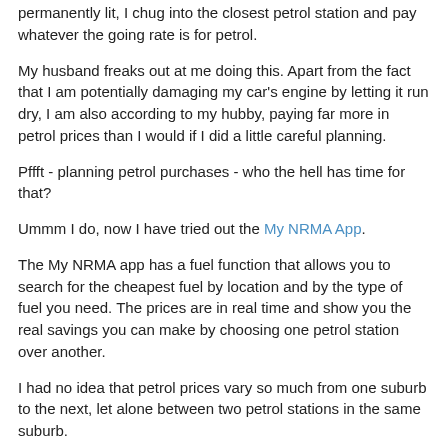permanently lit, I chug into the closest petrol station and pay whatever the going rate is for petrol.
My husband freaks out at me doing this. Apart from the fact that I am potentially damaging my car's engine by letting it run dry, I am also according to my hubby, paying far more in petrol prices than I would if I did a little careful planning.
Pffft - planning petrol purchases - who the hell has time for that?
Ummm I do, now I have tried out the My NRMA App.
The My NRMA app has a fuel function that allows you to search for the cheapest fuel by location and by the type of fuel you need. The prices are in real time and show you the real savings you can make by choosing one petrol station over another.
I had no idea that petrol prices vary so much from one suburb to the next, let alone between two petrol stations in the same suburb.